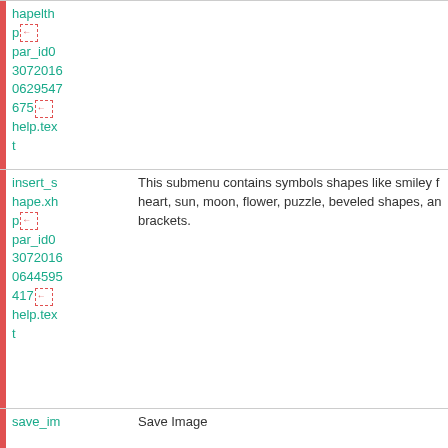| ID/File | Description |
| --- | --- |
| hapelth
p[icon]
par_id0
3072016
0629547
675[icon]
help.text |  |
| insert_shape.xhp[icon]
par_id0
3072016
0644595
417[icon]
help.text | This submenu contains symbols shapes like smiley face, heart, sun, moon, flower, puzzle, beveled shapes, and brackets. |
| save_im | Save Image |